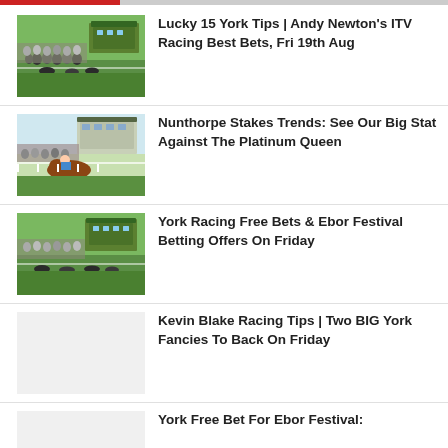[Figure (other): Top navigation bar with red and gray segments]
[Figure (photo): Horse racing crowd at York racecourse grandstand]
Lucky 15 York Tips | Andy Newton's ITV Racing Best Bets, Fri 19th Aug
[Figure (photo): Horse racing action shot with jockey on brown horse]
Nunthorpe Stakes Trends: See Our Big Stat Against The Platinum Queen
[Figure (photo): Horse racing crowd at York racecourse grandstand]
York Racing Free Bets & Ebor Festival Betting Offers On Friday
Kevin Blake Racing Tips | Two BIG York Fancies To Back On Friday
York Free Bet For Ebor Festival: